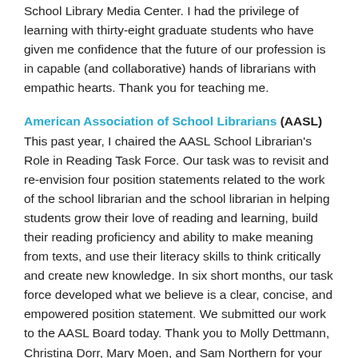School Library Media Center. I had the privilege of learning with thirty-eight graduate students who have given me confidence that the future of our profession is in capable (and collaborative) hands of librarians with empathic hearts. Thank you for teaching me.
American Association of School Librarians (AASL)
This past year, I chaired the AASL School Librarian's Role in Reading Task Force. Our task was to revisit and re-envision four position statements related to the work of the school librarian and the school librarian in helping students grow their love of reading and learning, build their reading proficiency and ability to make meaning from texts, and use their literacy skills to think critically and create new knowledge. In six short months, our task force developed what we believe is a clear, concise, and empowered position statement. We submitted our work to the AASL Board today. Thank you to Molly Dettmann, Christina Dorr, Mary Moen, and Sam Northern for your collaboration, commitment, and passion for this work.
AASL Conference 2019
I had the good fortune of kicking off the Educators of School